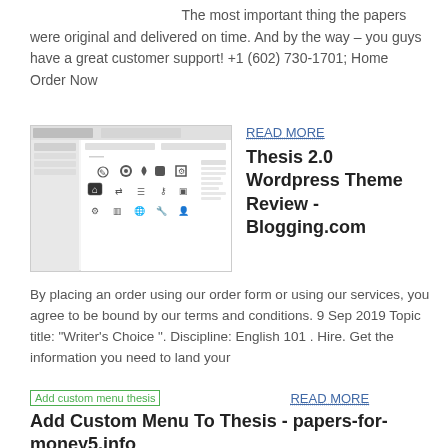The most important thing the papers were original and delivered on time. And by the way – you guys have a great customer support! +1 (602) 730-1701; Home Order Now
[Figure (screenshot): Screenshot of a WordPress theme customization interface showing icon grid with settings icons]
READ MORE
Thesis 2.0 Wordpress Theme Review - Blogging.com
By placing an order using our order form or using our services, you agree to be bound by our terms and conditions. 9 Sep 2019 Topic title: "Writer's Choice ". Discipline: English 101 . Hire. Get the information you need to land your
[Figure (screenshot): Small image placeholder: Add custom menu thesis]
READ MORE
Add Custom Menu To Thesis - papers-for-money5.info